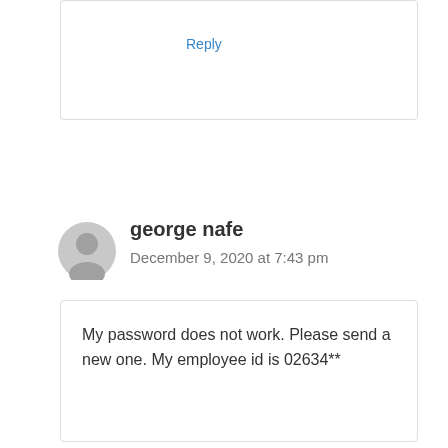Reply
george nafe
December 9, 2020 at 7:43 pm
My password does not work. Please send a new one. My employee id is 02634**
Reply